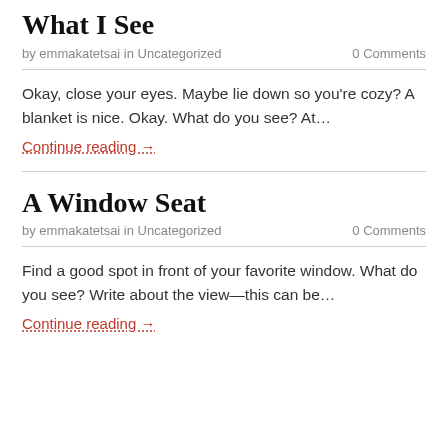What I See
by emmakatetsai in Uncategorized   0 Comments
Okay, close your eyes. Maybe lie down so you're cozy? A blanket is nice. Okay. What do you see? At…
Continue reading →
A Window Seat
by emmakatetsai in Uncategorized   0 Comments
Find a good spot in front of your favorite window. What do you see? Write about the view—this can be…
Continue reading →